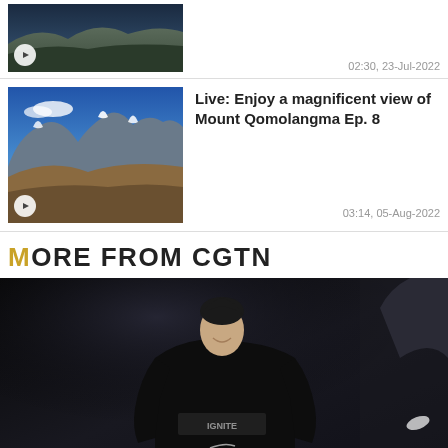[Figure (screenshot): Video thumbnail showing dark mountain/landscape background with play button, timestamp 02:30, 23-Jul-2022]
[Figure (screenshot): Video thumbnail showing Mount Qomolangma (Everest) with blue sky, snow-capped peaks and brown foothills, with play button]
Live: Enjoy a magnificent view of Mount Qomolangma Ep. 8
03:14, 05-Aug-2022
MORE FROM CGTN
[Figure (photo): Basketball player in black Ignite Nike shirt smiling on court, with another player in background raising arm]